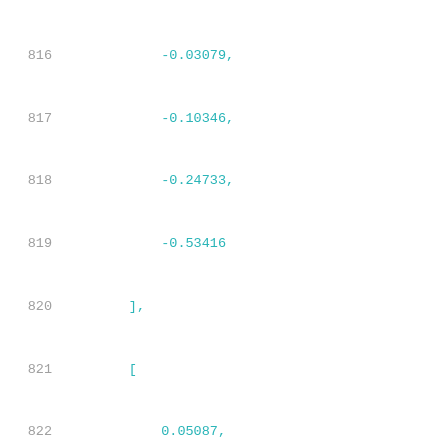816    -0.03079,
817    -0.10346,
818    -0.24733,
819    -0.53416
820    ],
821    [
822        0.05087,
823        0.03846,
824        0.02759,
825        0.00761,
826        -0.02991,
827        -0.10266,
828        -0.2466,
829        -0.53347
830    ],
831    [
832        0.05396,
833        0.04134,
834        0.03033,
835        0.01006,
836        -0.02769,
837        -0.10064,